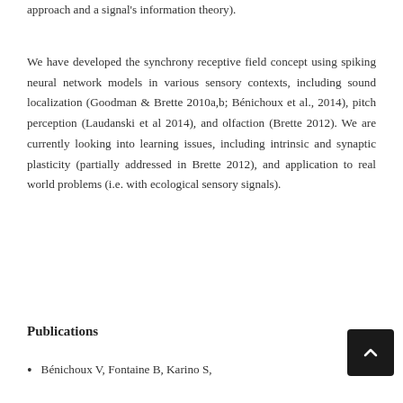approach and a signal's information theory).
We have developed the synchrony receptive field concept using spiking neural network models in various sensory contexts, including sound localization (Goodman & Brette 2010a,b; Bénichoux et al., 2014), pitch perception (Laudanski et al 2014), and olfaction (Brette 2012). We are currently looking into learning issues, including intrinsic and synaptic plasticity (partially addressed in Brette 2012), and application to real world problems (i.e. with ecological sensory signals).
Publications
Bénichoux V, Fontaine B, Karino S,